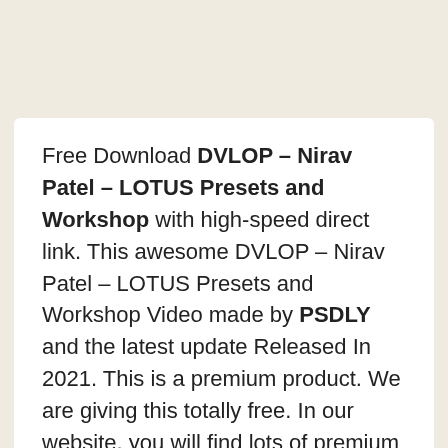Free Download DVLOP – Nirav Patel – LOTUS Presets and Workshop with high-speed direct link. This awesome DVLOP – Nirav Patel – LOTUS Presets and Workshop Video made by PSDLY and the latest update Released In 2021. This is a premium product. We are giving this totally free. In our website, you will find lots of premium assets free like Free-course/tutorials, Lightroom Preset, PS action, Mockups, Videohive Items, Premium Sounds, Web Templates, and much more.
Five years in the making, this preset pack is the culmination of endless nights of adjusting levels and colors to create a versatile yet impactful set featuring